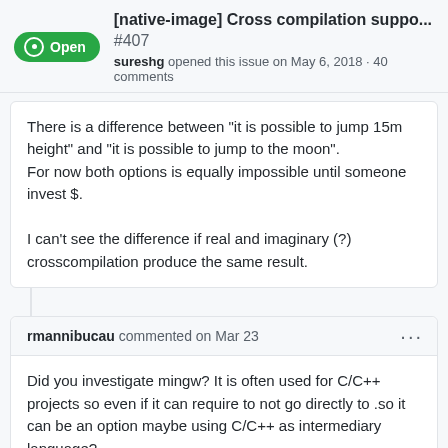[native-image] Cross compilation suppo... #407 sureshg opened this issue on May 6, 2018 · 40 comments
There is a difference between "it is possible to jump 15m height" and "it is possible to jump to the moon".
For now both options is equally impossible until someone invest $.

I can't see the difference if real and imaginary (?) crosscompilation produce the same result.
rmannibucau commented on Mar 23
Did you investigate mingw? It is often used for C/C++ projects so even if it can require to not go directly to .so it can be an option maybe using C/C++ as intermediary language?